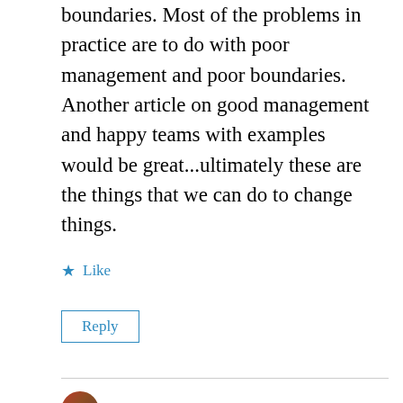boundaries. Most of the problems in practice are to do with poor management and poor boundaries. Another article on good management and happy teams with examples would be great...ultimately these are the things that we can do to change things.
★ Like
Reply
anitalinkthoughtfood ▲
April 29, 2020 at 6:15 am
Thank you for taking the time to read and